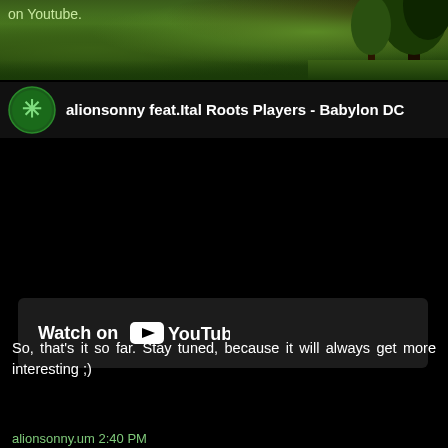on Youtube.
[Figure (photo): Nature/outdoor scene with green trees and grass at top of page]
alionsonny feat.Ital Roots Players - Babylon DC
[Figure (screenshot): Embedded YouTube video player showing black screen with Watch on YouTube button]
Watch on YouTube
[Figure (photo): Nature/outdoor scene with green trees and grass at bottom of page]
So, that's it so far. Stay tuned, because it will always get more interesting ;)
alionsonny.um 2:40 PM